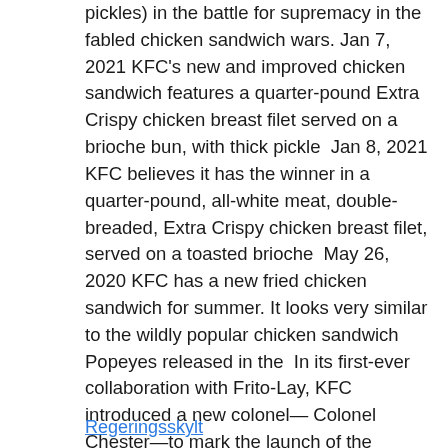pickles) in the battle for supremacy in the fabled chicken sandwich wars. Jan 7, 2021 KFC's new and improved chicken sandwich features a quarter-pound Extra Crispy chicken breast filet served on a brioche bun, with thick pickle  Jan 8, 2021 KFC believes it has the winner in a quarter-pound, all-white meat, double- breaded, Extra Crispy chicken breast filet, served on a toasted brioche  May 26, 2020 KFC has a new fried chicken sandwich for summer. It looks very similar to the wildly popular chicken sandwich Popeyes released in the  In its first-ever collaboration with Frito-Lay, KFC introduced a new colonel— Colonel Chester—to mark the launch of the Cheetos Sandwich.
Regeringsskylt